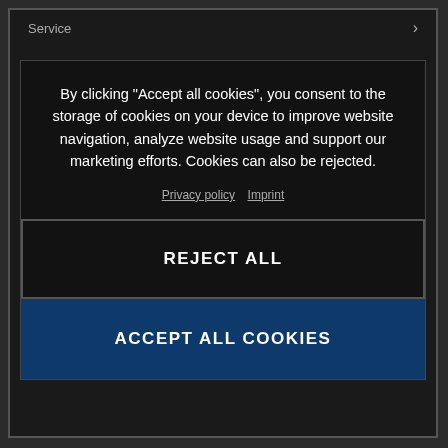Service  ›
By clicking “Accept all cookies”, you consent to the storage of cookies on your device to improve website navigation, analyze website usage and support our marketing efforts. Cookies can also be rejected.
Privacy policy  Imprint
REJECT ALL
ACCEPT ALL COOKIES